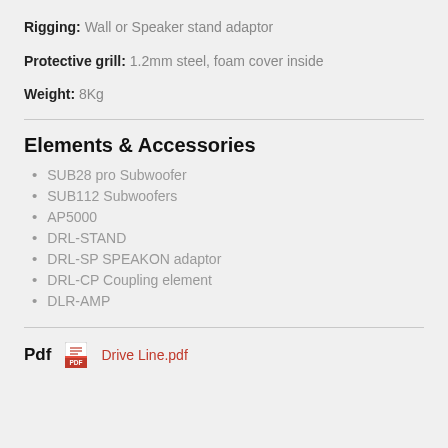Rigging: Wall or Speaker stand adaptor
Protective grill: 1.2mm steel, foam cover inside
Weight: 8Kg
Elements & Accessories
SUB28 pro Subwoofer
SUB112 Subwoofers
AP5000
DRL-STAND
DRL-SP SPEAKON adaptor
DRL-CP Coupling element
DLR-AMP
Pdf  Drive Line.pdf